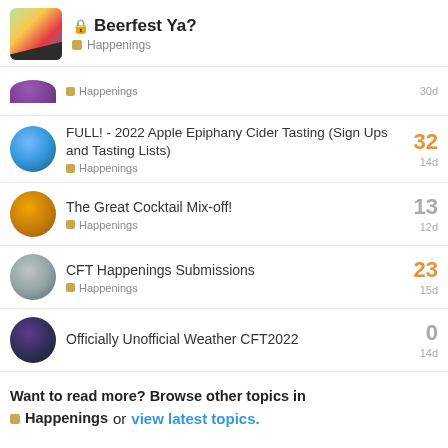Beerfest Ya? — Happenings
Happenings — 30d
FULL! - 2022 Apple Epiphany Cider Tasting (Sign Ups and Tasting Lists) — Happenings — 32 — 14d
The Great Cocktail Mix-off! — Happenings — 13 — 12d
CFT Happenings Submissions — Happenings — 23 — 15d
Officially Unofficial Weather CFT2022 — 0 — 14d
Want to read more? Browse other topics in Happenings or view latest topics.